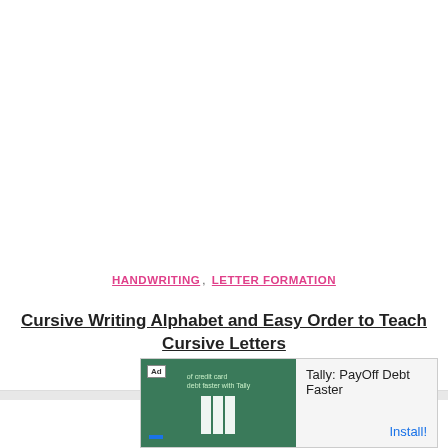HANDWRITING, LETTER FORMATION
Cursive Writing Alphabet and Easy Order to Teach Cursive Letters
[Figure (screenshot): Advertisement banner for Tally: PayOff Debt Faster app with green background and tally bar icons]